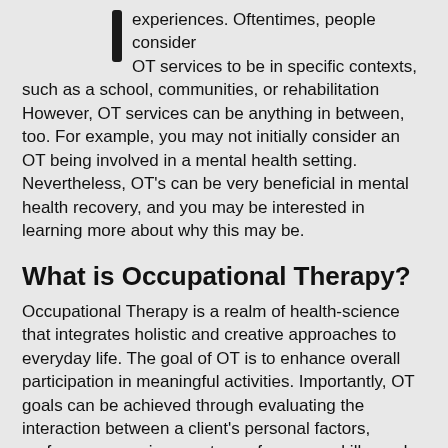experiences. Oftentimes, people consider OT services to be in specific contexts, such as a school, communities, or rehabilitation However, OT services can be anything in between, too. For example, you may not initially consider an OT being involved in a mental health setting. Nevertheless, OT's can be very beneficial in mental health recovery, and you may be interested in learning more about why this may be.
What is Occupational Therapy?
Occupational Therapy is a realm of health-science that integrates holistic and creative approaches to everyday life. The goal of OT is to enhance overall participation in meaningful activities. Importantly, OT goals can be achieved through evaluating the interaction between a client's personal factors, preferences, environments, performance skills, and